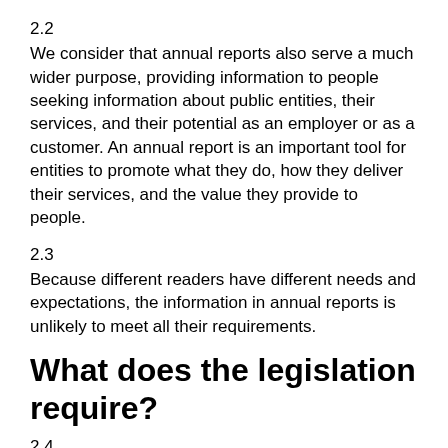2.2
We consider that annual reports also serve a much wider purpose, providing information to people seeking information about public entities, their services, and their potential as an employer or as a customer. An annual report is an important tool for entities to promote what they do, how they deliver their services, and the value they provide to people.
2.3
Because different readers have different needs and expectations, the information in annual reports is unlikely to meet all their requirements.
What does the legislation require?
2.4
The PFA and CEA set out the requirements for an entity's planning and reporting documentation. The Acts require